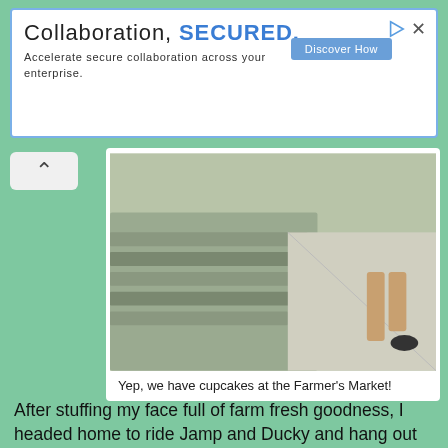[Figure (other): Advertisement banner: 'Collaboration, SECURED. Accelerate secure collaboration across your enterprise.' with a blue 'Discover How' button and play/close icons.]
[Figure (photo): Photo of a sidewalk with stone steps/curbing and a person's legs visible, taken at a Farmer's Market.]
Yep, we have cupcakes at the Farmer's Market!
After stuffing my face full of farm fresh goodness, I headed home to ride Jamp and Ducky and hang out with Rio. Ducky is still in his "I'm a tree" phase, so really I just sunbathed on him.
[Figure (photo): Photo of a horse approaching a jump obstacle on a sandy arena, seen from behind/above showing the horse's ears and the colorful jump poles.]